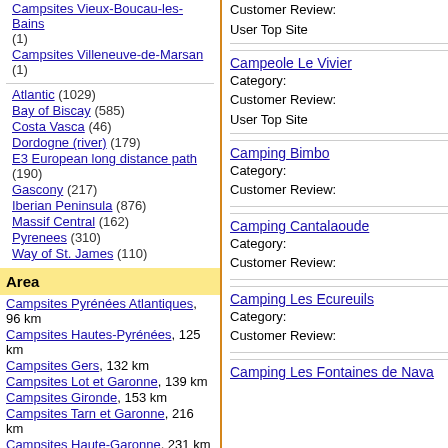Campsites Vieux-Boucau-les-Bains (1)
Campsites Villeneuve-de-Marsan (1)
Atlantic (1029)
Bay of Biscay (585)
Costa Vasca (46)
Dordogne (river) (179)
E3 European long distance path (190)
Gascony (217)
Iberian Peninsula (876)
Massif Central (162)
Pyrenees (310)
Way of St. James (110)
Area
Campsites Pyrénées Atlantiques, 96 km
Campsites Hautes-Pyrénées, 125 km
Campsites Gers, 132 km
Campsites Lot et Garonne, 139 km
Campsites Gironde, 153 km
Campsites Tarn et Garonne, 216 km
Campsites Haute-Garonne, 231 km
Campsites Guipuscoa, 234 km
Campsites Lot, 242 km
Campsites Dordogne, 251 km
Customer Review:
User Top Site
Campeole Le Vivier
Category:
Customer Review:
User Top Site
Camping Bimbo
Category:
Customer Review:
Camping Cantalaoude
Category:
Customer Review:
Camping Les Ecureuils
Category:
Customer Review:
Camping Les Fontaines de Nava